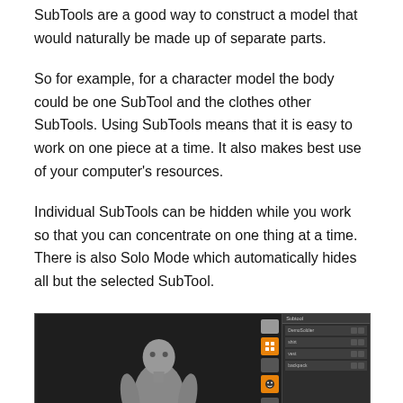SubTools are a good way to construct a model that would naturally be made up of separate parts.
So for example, for a character model the body could be one SubTool and the clothes other SubTools. Using SubTools means that it is easy to work on one piece at a time. It also makes best use of your computer’s resources.
Individual SubTools can be hidden while you work so that you can concentrate on one thing at a time. There is also Solo Mode which automatically hides all but the selected SubTool.
[Figure (screenshot): ZBrush software interface showing a 3D character model (humanoid figure) in the viewport on the left, with a SubTool panel on the right side showing multiple subtool entries including body, shirt, and backpack items. Orange UI buttons are visible in the toolbar area.]